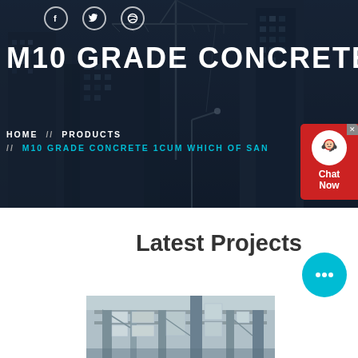[Figure (photo): Hero banner with construction site background showing cranes and buildings under dark blue overlay]
M10 GRADE CONCRETE 1CUM W
HOME // PRODUCTS // M10 GRADE CONCRETE 1CUM WHICH OF SAN
[Figure (illustration): Red chat widget with agent headset icon and Chat Now label in top right corner]
Latest Projects
[Figure (illustration): Blue circular chat bubble icon with ellipsis dots]
[Figure (photo): Construction project photo showing steel framework and structural elements inside a building]